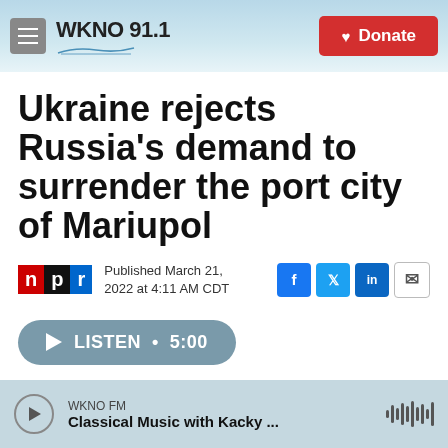WKNO 91.1 | Donate
Ukraine rejects Russia's demand to surrender the port city of Mariupol
Published March 21, 2022 at 4:11 AM CDT
LISTEN • 5:00
WKNO FM — Classical Music with Kacky ...